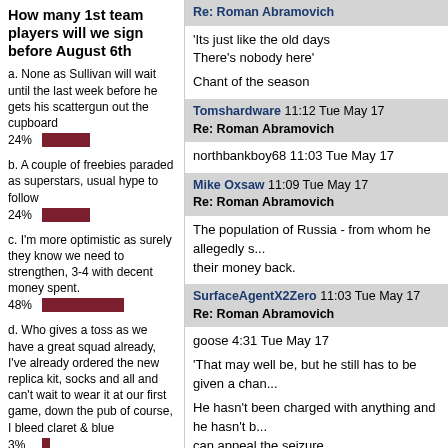How many 1st team players will we sign before August 6th
a. None as Sullivan will wait until the last week before he gets his scattergun out the cupboard
24%
b. A couple of freebies paraded as superstars, usual hype to follow
24%
c. I'm more optimistic as surely they know we need to strengthen, 3-4 with decent money spent.
48%
d. Who gives a toss as we have a great squad already, I've already ordered the new replica kit, socks and all and can't wait to wear it at our first game, down the pub of course, I bleed claret & blue
3%
Re: Roman Abramovich
'Its just like the old days
There's nobody here'

Chant of the season
Tomshardware 11:12 Tue May 17
Re: Roman Abramovich
northbankboy68 11:03 Tue May 17
Mike Oxsaw 11:09 Tue May 17
Re: Roman Abramovich
The population of Russia - from whom he allegedly stole money - want their money back.
SurfaceAgentX2Zero 11:03 Tue May 17
Re: Roman Abramovich
goose 4:31 Tue May 17

'That may well be, but he still has to be given a chan...

He hasn't been charged with anything and he hasn't been convicted. He can appeal the seizure.

'From what I can see the process is heavily weighted...

I should hope so. If it was easy for multi-billionaire oligarchs to overturn seizures for years then the law would be entirely poi...